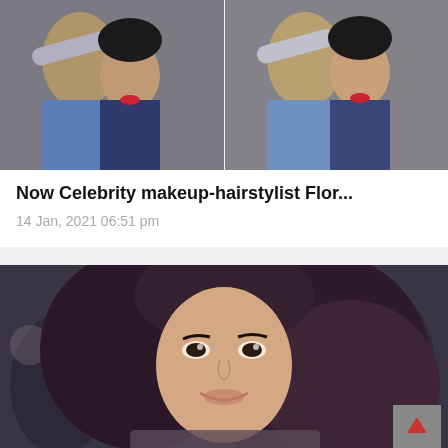[Figure (photo): Two side-by-side photos of a woman getting makeup done by a stylist in a denim jacket]
Now Celebrity makeup-hairstylist Flor...
14 Jan, 2021 06:51 pm
[Figure (photo): A woman with long wavy dark hair smiling, photographed at what appears to be a red carpet event with blurred background]
Watch-Top 10 Most Popular and beautif...
13 Jan, 2021 02:09 pm